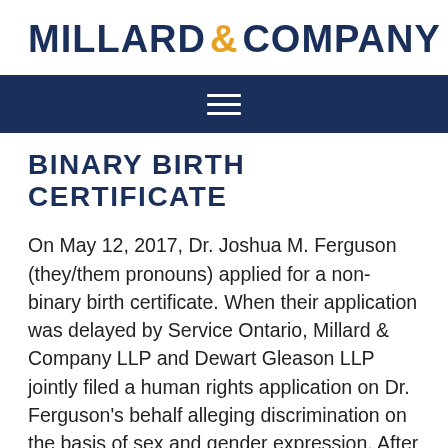MILLARD & COMPANY
BINARY BIRTH CERTIFICATE
On May 12, 2017, Dr. Joshua M. Ferguson (they/them pronouns) applied for a non-binary birth certificate. When their application was delayed by Service Ontario, Millard & Company LLP and Dewart Gleason LLP jointly filed a human rights application on Dr. Ferguson’s behalf alleging discrimination on the basis of sex and gender expression. After reaching a